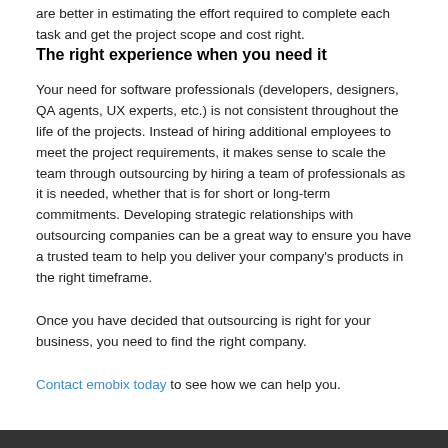are better in estimating the effort required to complete each task and get the project scope and cost right.
The right experience when you need it
Your need for software professionals (developers, designers, QA agents, UX experts, etc.) is not consistent throughout the life of the projects. Instead of hiring additional employees to meet the project requirements, it makes sense to scale the team through outsourcing by hiring a team of professionals as it is needed, whether that is for short or long-term commitments. Developing strategic relationships with outsourcing companies can be a great way to ensure you have a trusted team to help you deliver your company's products in the right timeframe.
Once you have decided that outsourcing is right for your business, you need to find the right company.
Contact emobix today to see how we can help you.